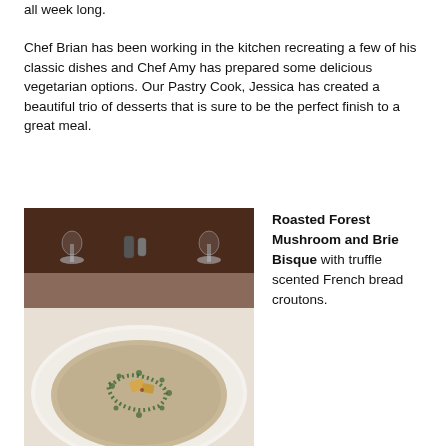all week long.
Chef Brian has been working in the kitchen recreating a few of his classic dishes and Chef Amy has prepared some delicious vegetarian options.  Our Pastry Cook, Jessica has created a beautiful trio of desserts that is sure to be the perfect finish to a great meal.
[Figure (photo): A white bowl containing a creamy mushroom bisque soup with a swirl of green herb oil and croutons on top, set on a white tablecloth with wine glasses in the background.]
Roasted Forest Mushroom and Brie Bisque with truffle scented French bread croutons.